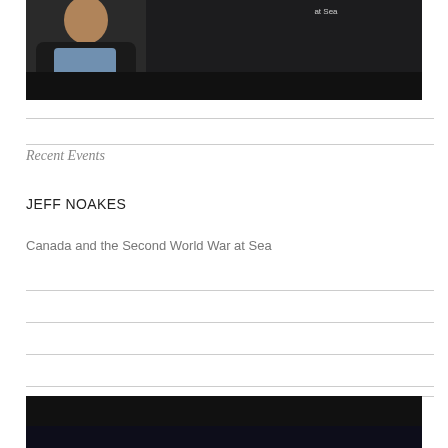[Figure (photo): Photo of a man in a dark blazer and light blue shirt against a dark background, with text 'at Sea' and watermark 'studyofcanada.ca' visible]
Recent Events
JEFF NOAKES
Canada and the Second World War at Sea
[Figure (photo): Dark image, bottom portion of another video thumbnail or photo]